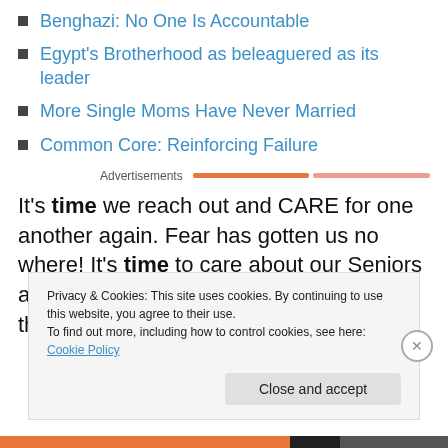Benghazi: No One Is Accountable
Egypt's Brotherhood as beleaguered as its leader
More Single Moms Have Never Married
Common Core: Reinforcing Failure
Advertisements
It's time we reach out and CARE for one another again. Fear has gotten us no where! It's time to care about our Seniors and the riches of wisdom and experience they can
Privacy & Cookies: This site uses cookies. By continuing to use this website, you agree to their use.
To find out more, including how to control cookies, see here: Cookie Policy
Close and accept